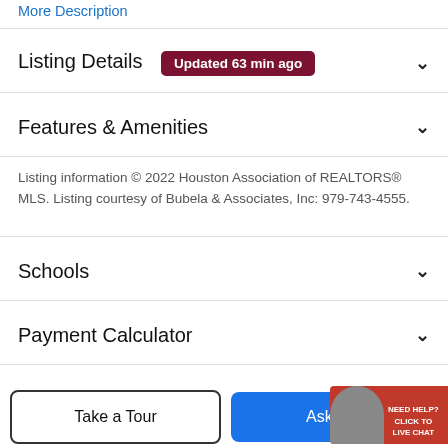More Description
Listing Details
Features & Amenities
Listing information © 2022 Houston Association of REALTORS® MLS. Listing courtesy of Bubela & Associates, Inc: 979-743-4555.
Schools
Payment Calculator
Contact Agent